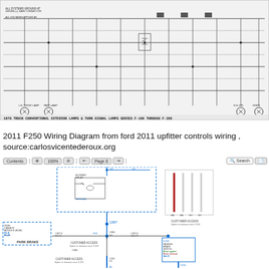[Figure (engineering-diagram): 1970 Truck Conventional Exterior Lamps & Turn Signal Lamps wiring diagram, Series F-100 through F-350. Black and white schematic showing lamp circuits, connectors, switches, and wiring labels.]
1970 TRUCK CONVENTIONAL EXTERIOR LAMPS & TURN SIGNAL LAMPS SERIES F-100 THROUGH F-350
2011 F250 Wiring Diagram from ford 2011 upfitter controls wiring , source:carlosvicentederoux.org
[Figure (engineering-diagram): 2011 Ford F250 upfitter controls wiring diagram showing relays, customer access connectors (C210, C215, C219), Park Brake module (BCM), harness connections, wiring colors (blue, dark blue, red, white), and connector pinouts.]